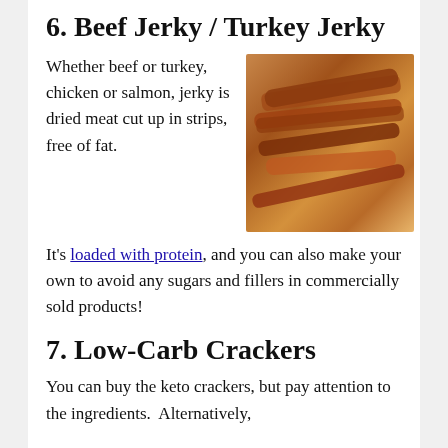6. Beef Jerky / Turkey Jerky
Whether beef or turkey, chicken or salmon, jerky is dried meat cut up in strips, free of fat.
[Figure (photo): Photo of beef jerky strips on a wooden surface, showing dried reddish-brown meat strips piled together]
It's loaded with protein, and you can also make your own to avoid any sugars and fillers in commercially sold products!
7. Low-Carb Crackers
You can buy the keto crackers, but pay attention to the ingredients.  Alternatively,